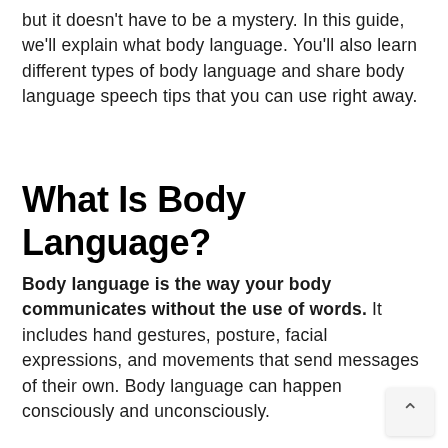but it doesn't have to be a mystery. In this guide, we'll explain what body language. You'll also learn different types of body language and share body language speech tips that you can use right away.
What Is Body Language?
Body language is the way your body communicates without the use of words. It includes hand gestures, posture, facial expressions, and movements that send messages of their own. Body language can happen consciously and unconsciously.